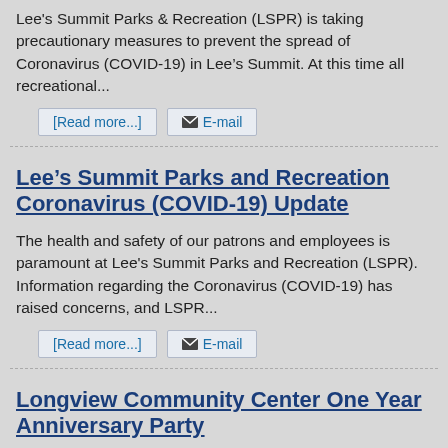Lee's Summit Parks & Recreation (LSPR) is taking precautionary measures to prevent the spread of Coronavirus (COVID-19) in Lee's Summit. At this time all recreational...
[Read more...]
E-mail
Lee's Summit Parks and Recreation Coronavirus (COVID-19) Update
The health and safety of our patrons and employees is paramount at Lee's Summit Parks and Recreation (LSPR). Information regarding the Coronavirus (COVID-19) has raised concerns, and LSPR...
[Read more...]
E-mail
Longview Community Center One Year Anniversary Party
Longview Community Center is celebrating its one-year anniversary with free access to the facility on Saturday, January 4 from 7 am - 3 pm. "It has been a great year and we are excited to...